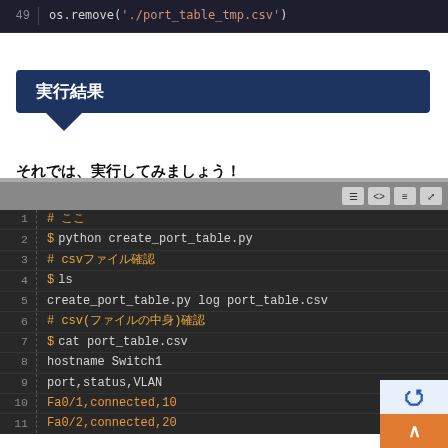[Figure (screenshot): Dark-themed code editor showing line 49: os.remove('./port_table_tmp.csv')]
実行結果
それでは、実行してみましょう！
[Figure (screenshot): Dark-themed terminal/code block showing lines 1-11: shell commands and output including python create_port_table.py, ls, cat port_table.csv, hostname Switch1, port/status/VLAN data for Fa0/1 and Fa0/2]